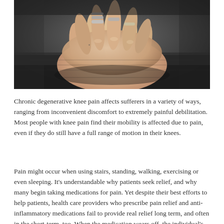[Figure (photo): Close-up photograph of two hands clasped together, with rings on fingers, resting against a dark denim fabric background.]
Chronic degenerative knee pain affects sufferers in a variety of ways, ranging from inconvenient discomfort to extremely painful debilitation. Most people with knee pain find their mobility is affected due to pain, even if they do still have a full range of motion in their knees.
Pain might occur when using stairs, standing, walking, exercising or even sleeping. It's understandable why patients seek relief, and why many begin taking medications for pain. Yet despite their best efforts to help patients, health care providers who prescribe pain relief and anti-inflammatory medications fail to provide real relief long term, and often in the short-term, too. When the medication wears off, the individual's only option is to take